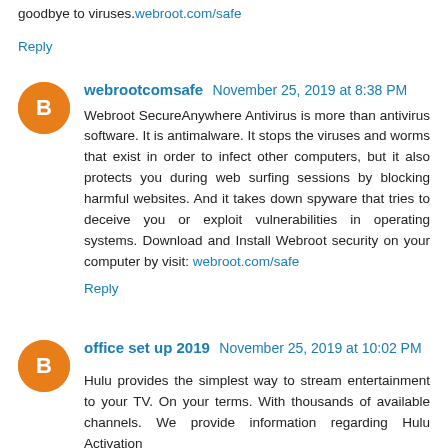goodbye to viruses.webroot.com/safe
Reply
webrootcomsafe  November 25, 2019 at 8:38 PM
Webroot SecureAnywhere Antivirus is more than antivirus software. It is antimalware. It stops the viruses and worms that exist in order to infect other computers, but it also protects you during web surfing sessions by blocking harmful websites. And it takes down spyware that tries to deceive you or exploit vulnerabilities in operating systems. Download and Install Webroot security on your computer by visit: webroot.com/safe
Reply
office set up 2019  November 25, 2019 at 10:02 PM
Hulu provides the simplest way to stream entertainment to your TV. On your terms. With thousands of available channels. We provide information regarding Hulu Activation